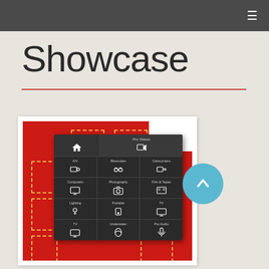≡
Showcase
[Figure (screenshot): Screenshot of a mobile/web app navigation menu on a red background showing product categories: A/V, Binoculars, Camcorders, Computers, Photography, Film & Tapes, Lighting, Portable, TV, Underwater, Pro Audio, with corresponding icons on a dark panel. Yellow dashed rectangles visible behind the panel. A home icon and Pro Videos option at top.]
[Figure (other): Blue circle with upward-pointing chevron/arrow icon]